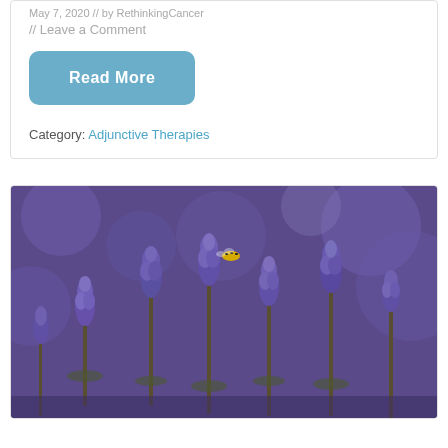May 7, 2020 // By RethinkingCancer
// Leave a Comment
Read More
Category: Adjunctive Therapies
[Figure (photo): Close-up photo of purple lavender flowers with a bee, against a blurred purple background]